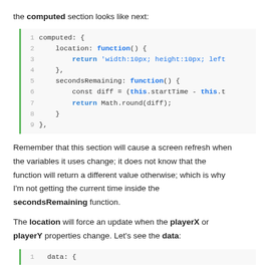the computed section looks like next:
[Figure (screenshot): Code block showing computed section with location function returning style string and secondsRemaining function using Math.round]
Remember that this section will cause a screen refresh when the variables it uses change; it does not know that the function will return a different value otherwise; which is why I'm not getting the current time inside the secondsRemaining function.
The location will force an update when the playerX or playerY properties change. Let's see the data:
[Figure (screenshot): Code block showing start of data section: data: {]